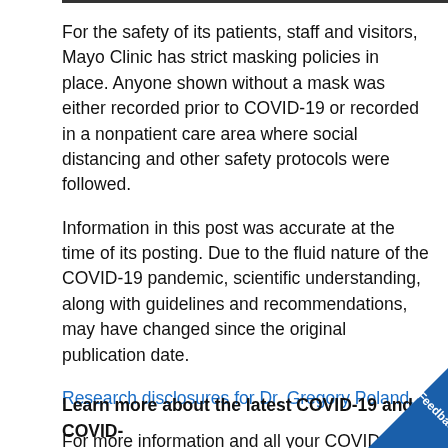For the safety of its patients, staff and visitors, Mayo Clinic has strict masking policies in place. Anyone shown without a mask was either recorded prior to COVID-19 or recorded in a nonpatient care area where social distancing and other safety protocols were followed.
Information in this post was accurate at the time of its posting. Due to the fluid nature of the COVID-19 pandemic, scientific understanding, along with guidelines and recommendations, may have changed since the original publication date.
Research disclosures for Dr. Gregory Poland.
For more information and all your COVID-19 coverage, go to the Mayo Clinic News Network and mayoclinic.org.
Learn more about the latest COVID-19 and COVID-